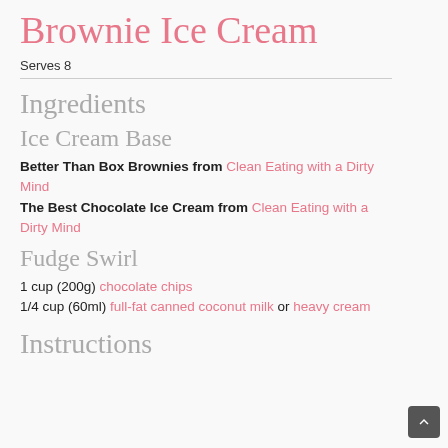Brownie Ice Cream
Serves 8
Ingredients
Ice Cream Base
Better Than Box Brownies from Clean Eating with a Dirty Mind
The Best Chocolate Ice Cream from Clean Eating with a Dirty Mind
Fudge Swirl
1 cup (200g) chocolate chips
1/4 cup (60ml) full-fat canned coconut milk or heavy cream
Instructions